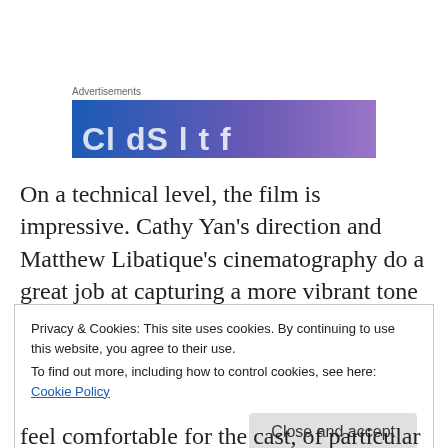Advertisements
[Figure (other): Advertisement banner with gradient blue-purple background and partial white text]
On a technical level, the film is impressive. Cathy Yan's direction and Matthew Libatique's cinematography do a great job at capturing a more vibrant tone for the film, seeming to be what Suicide Squad was intending to go for with a wilder,
Privacy & Cookies: This site uses cookies. By continuing to use this website, you agree to their use.
To find out more, including how to control cookies, see here: Cookie Policy
Close and accept
feel comfortable for the cast, of particular praise